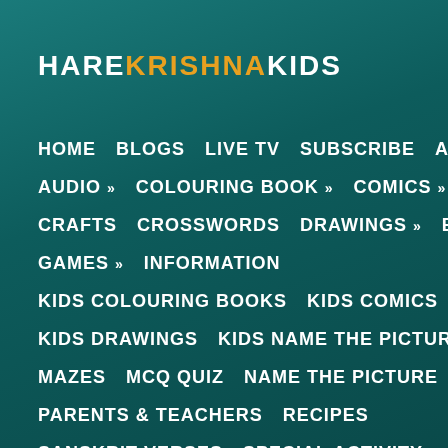HAREKRISHNAKIDS
HOME   BLOGS   LIVE TV   SUBSCRIBE   A TO Z
AUDIO »   COLOURING BOOK »   COMICS »
CRAFTS   CROSSWORDS   DRAWINGS »   EBOOKS
GAMES »   INFORMATION
KIDS COLOURING BOOKS   KIDS COMICS
KIDS DRAWINGS   KIDS NAME THE PICTURE
MAZES   MCQ QUIZ   NAME THE PICTURE
PARENTS & TEACHERS   RECIPES
SANSKRIT VERSES   SPECIAL ACTIVITY